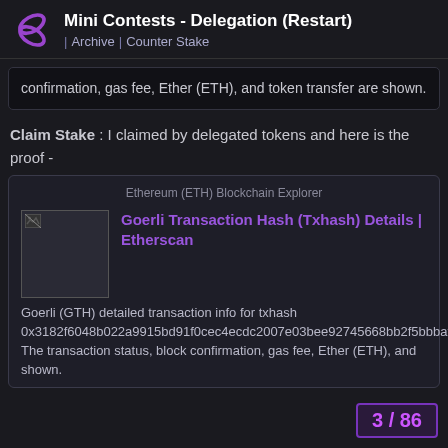Mini Contests - Delegation (Restart) | Archive | Counter Stake
confirmation, gas fee, Ether (ETH), and token transfer are shown.
Claim Stake : I claimed by delegated tokens and here is the proof -
[Figure (screenshot): Ethereum (ETH) Blockchain Explorer card showing Goerli Transaction Hash (Txhash) Details | Etherscan. Goerli (GTH) detailed transaction info for txhash 0x3182f6048b022a9915bd91f0cec4ecdc2007e03bee92745668bb2f5bbbafaff0. The transaction status, block confirmation, gas fee, Ether (ETH), and shown.]
3 / 86